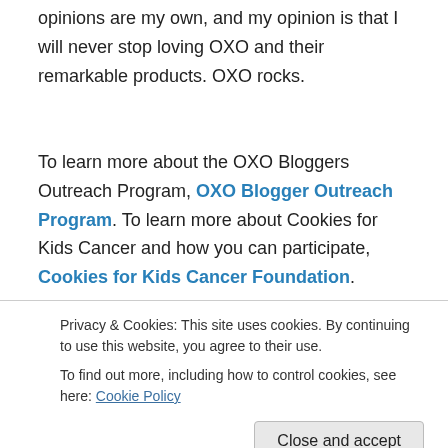opinions are my own, and my opinion is that I will never stop loving OXO and their remarkable products. OXO rocks.
To learn more about the OXO Bloggers Outreach Program, OXO Blogger Outreach Program. To learn more about Cookies for Kids Cancer and how you can participate, Cookies for Kids Cancer Foundation.
Sponsored Content
[Figure (photo): Two sponsored content thumbnail images side by side, partially visible]
Privacy & Cookies: This site uses cookies. By continuing to use this website, you agree to their use. To find out more, including how to control cookies, see here: Cookie Policy
Close and accept